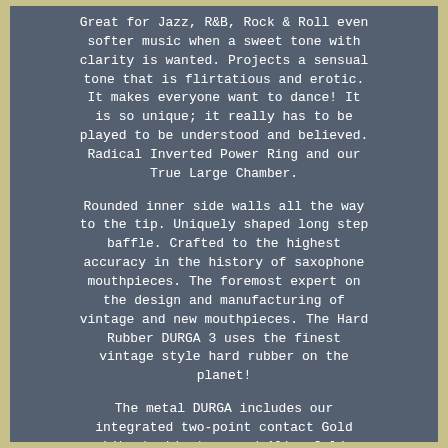Great for Jazz, R&B, Rock & Roll even softer music when a sweet tone with clarity is wanted. Projects a sensual tone that is flirtatious and erotic. It makes everyone want to dance! It is so unique; it really has to be played to be understood and believed. Radical Inverted Power Ring and our True Large Chamber.
Rounded inner side walls all the way to the tip. Uniquely shaped long step baffle. Crafted to the highest accuracy in the history of saxophone mouthpieces. The foremost expert on the design and manufacturing of vintage and new mouthpieces. The Hard Rubber DURGA 3 uses the finest vintage style hard rubber on the planet!
The metal DURGA includes our integrated two-point contact Gold Liberty Ligature and Alive Gold pressure plate. To truly individualize your sound, try our